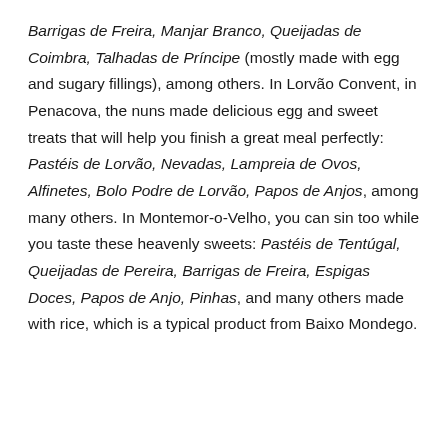Barrigas de Freira, Manjar Branco, Queijadas de Coimbra, Talhadas de Príncipe (mostly made with egg and sugary fillings), among others. In Lorvão Convent, in Penacova, the nuns made delicious egg and sweet treats that will help you finish a great meal perfectly: Pastéis de Lorvão, Nevadas, Lampreia de Ovos, Alfinetes, Bolo Podre de Lorvão, Papos de Anjos, among many others. In Montemor-o-Velho, you can sin too while you taste these heavenly sweets: Pastéis de Tentúgal, Queijadas de Pereira, Barrigas de Freira, Espigas Doces, Papos de Anjo, Pinhas, and many others made with rice, which is a typical product from Baixo Mondego.